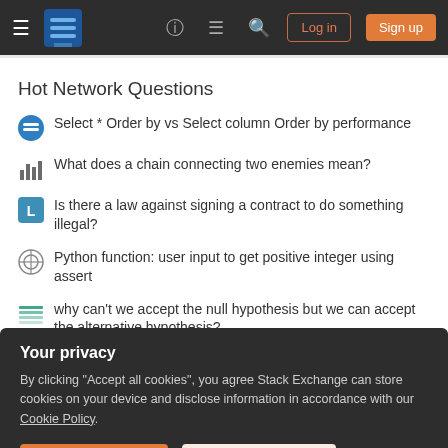Stack Exchange navigation bar with hamburger, logo, help, chat, search, Log in, Sign up
Hot Network Questions
Select * Order by vs Select column Order by performance
What does a chain connecting two enemies mean?
Is there a law against signing a contract to do something illegal?
Python function: user input to get positive integer using assert
why can't we accept the null hypothesis but we can accept the alternative hypothesis?
How to publish results of master theses
Would hoofed creatures bother with sails on their ships?
Your privacy
By clicking "Accept all cookies", you agree Stack Exchange can store cookies on your device and disclose information in accordance with our Cookie Policy.
Accept all cookies  Customize settings
What are some non-religious reasons to have highly-advanced